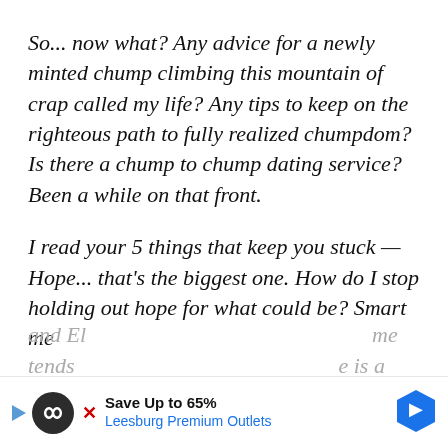So... now what? Any advice for a newly minted chump climbing this mountain of crap called my life? Any tips to keep on the righteous path to fully realized chumpdom? Is there a chump to chump dating service? Been a while on that front.
I read your 5 things that keep you stuck — Hope... that's the biggest one. How do I stop holding out hope for what could be? Smart me
and El                                                                    me tends                                                                 e is a
[Figure (other): Advertisement bar for Leesburg Premium Outlets with Save Up to 65% text, play button, infinity logo icon, close button, and blue diamond arrow navigation icon]